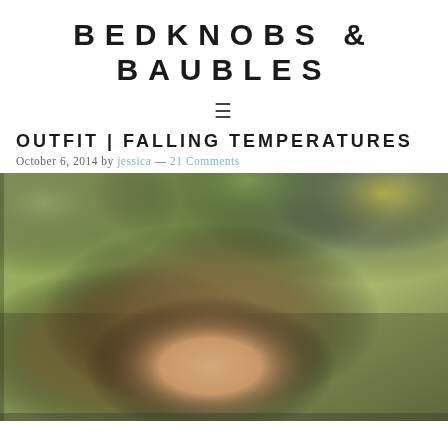BEDKNOBS & BAUBLES
≡
OUTFIT | FALLING TEMPERATURES
October 6, 2014 by jessica — 21 Comments
[Figure (photo): Outdoor portrait photo of a blonde woman looking up, with blurred autumn foliage in the background. Trees with yellow-green leaves visible in the upper portion of the image.]